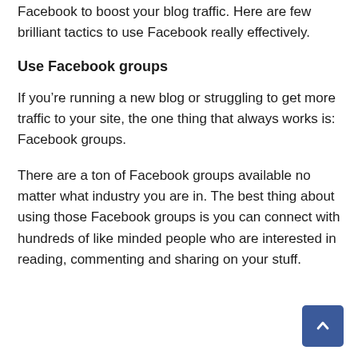Facebook to boost your blog traffic. Here are few brilliant tactics to use Facebook really effectively.
Use Facebook groups
If you're running a new blog or struggling to get more traffic to your site, the one thing that always works is: Facebook groups.
There are a ton of Facebook groups available no matter what industry you are in. The best thing about using those Facebook groups is you can connect with hundreds of like minded people who are interested in reading, commenting and sharing on your stuff.